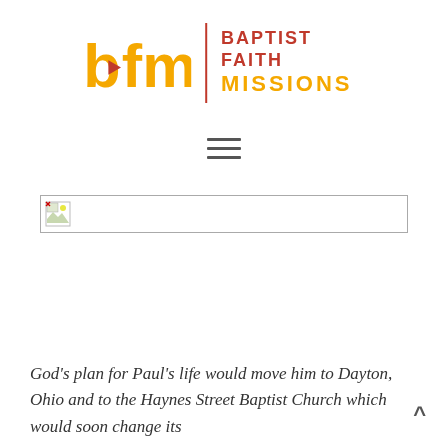[Figure (logo): Baptist Faith Missions logo: 'bfm' in gold with a red arrow inside the letter 'b', a vertical red line divider, and 'BAPTIST FAITH MISSIONS' text in red and gold on the right.]
[Figure (other): Hamburger/menu icon with three horizontal lines.]
[Figure (other): Broken image placeholder icon inside a bordered rectangle bar.]
God's plan for Paul's life would move him to Dayton, Ohio and to the Haynes Street Baptist Church which would soon change its